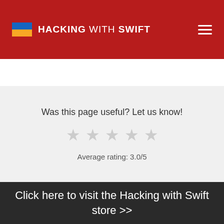HACKING WITH SWIFT
Was this page useful? Let us know!
[Figure (other): Five grey star icons for rating]
Average rating: 3.0/5
Click here to visit the Hacking with Swift store >>